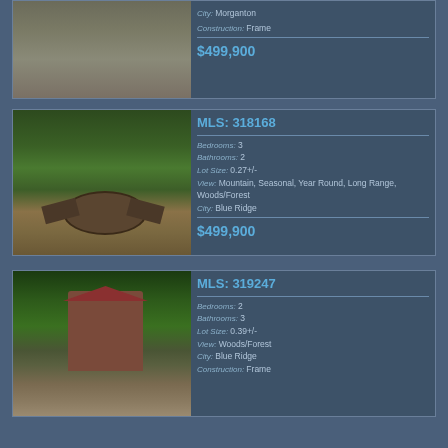[Figure (photo): Partial view of gravel driveway/yard area from previous listing]
City: Morganton
Construction: Frame
$499,900
[Figure (photo): Outdoor fire pit area surrounded by green trees with a green cabin structure visible in background]
MLS: 318168
Bedrooms: 3
Bathrooms: 2
Lot Size: 0.27+/-
View: Mountain, Seasonal, Year Round, Long Range, Woods/Forest
City: Blue Ridge
$499,900
[Figure (photo): Log/wood cabin home surrounded by lush green forest trees]
MLS: 319247
Bedrooms: 2
Bathrooms: 3
Lot Size: 0.39+/-
View: Woods/Forest
City: Blue Ridge
Construction: Frame